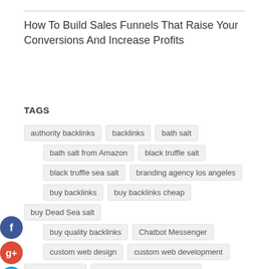How To Build Sales Funnels That Raise Your Conversions And Increase Profits
TAGS
authority backlinks
backlinks
bath salt
bath salt from Amazon
black truffle salt
black truffle sea salt
branding agency los angeles
buy backlinks
buy backlinks cheap
buy Dead Sea salt
buy quality backlinks
Chatbot Messenger
custom web design
custom web development
Dead Sea salt
Dead Sea salt from Amazon
Digital Marketing
digital marketing agency